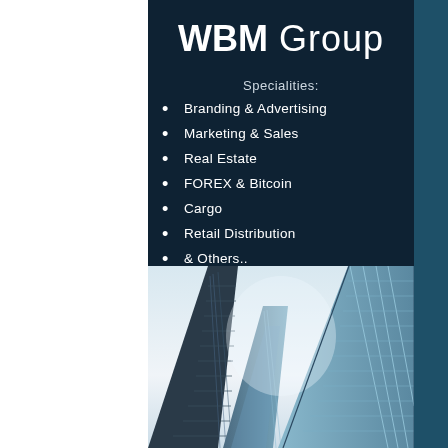WBM Group
Specialities:
Branding & Advertising
Marketing & Sales
Real Estate
FOREX & Bitcoin
Cargo
Retail Distribution
& Others..
[Figure (photo): Looking up at tall glass skyscrapers from ground level, blue sky visible between buildings]